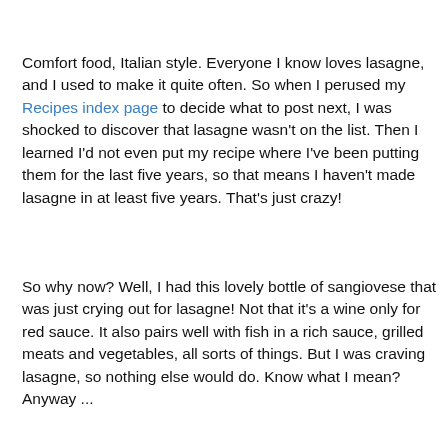Comfort food, Italian style. Everyone I know loves lasagne, and I used to make it quite often. So when I perused my Recipes index page to decide what to post next, I was shocked to discover that lasagne wasn't on the list. Then I learned I'd not even put my recipe where I've been putting them for the last five years, so that means I haven't made lasagne in at least five years. That's just crazy!
So why now? Well, I had this lovely bottle of sangiovese that was just crying out for lasagne! Not that it's a wine only for red sauce. It also pairs well with fish in a rich sauce, grilled meats and vegetables, all sorts of things. But I was craving lasagne, so nothing else would do. Know what I mean? Anyway ...
Castello di Amorosa Sangiovese 2009 Napa Valley* is a medium-bodied red wine with a nice balance of fruit and oak. Its dryness and excellent acidity make it very food-friendly and a perfect match for the tomato-y meat sauce. Poured a glass, swirled, smelled, tasted, liked it. Reminded me of tart cherries. Waited 10 or 15 minutes to let it "breathe" a bit, tasted again, liked it even more. Juicy. Then I tried it with the lasagne. Too often with such dishes, I've just gone with a lighter-bodied red I happened to have on hand